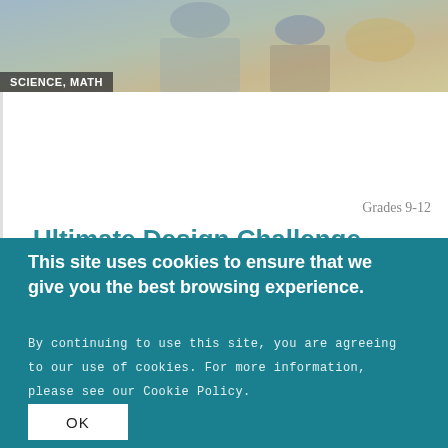[Figure (photo): Photo of students working on design/engineering project, viewed from above]
SCIENCE, MATH
Grades 9-12
Ultimate Design Challenge
How can we redesign a product's packaging to make it more environmentally friendly?
[Figure (photo): Photo of diverse students working together around a table]
This site uses cookies to ensure that we give you the best browsing experience.
By continuing to use this site, you are agreeing to our use of cookies. For more information, please see our Cookie Policy.
OK